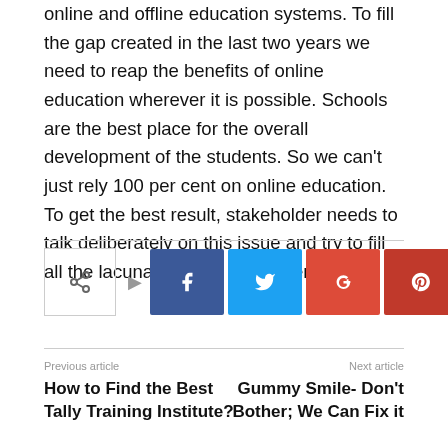online and offline education systems. To fill the gap created in the last two years we need to reap the benefits of online education wherever it is possible. Schools are the best place for the overall development of the students. So we can't just rely 100 per cent on online education. To get the best result, stakeholder needs to talk deliberately on this issue and try to fill all the lacunae in both the systems.
[Figure (infographic): Social media share buttons: share icon box with arrow, followed by Facebook (blue), Twitter (cyan), Google+ (orange-red), Pinterest (dark red), WhatsApp (green) buttons]
Previous article
How to Find the Best Tally Training Institute?
Next article
Gummy Smile- Don't Bother; We Can Fix it